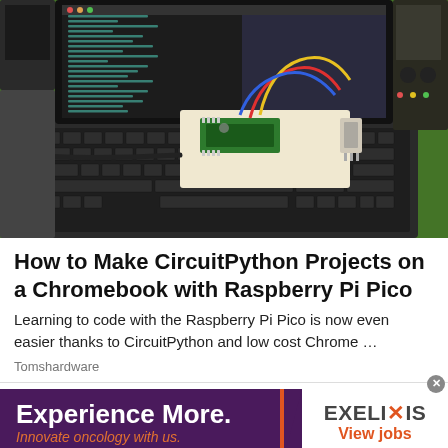[Figure (photo): A Raspberry Pi Pico on a breadboard with colorful wires connected to a sensor, placed on a laptop keyboard, with a code editor open on the laptop screen, on a green cutting mat.]
How to Make CircuitPython Projects on a Chromebook with Raspberry Pi Pico
Learning to code with the Raspberry Pi Pico is now even easier thanks to CircuitPython and low cost Chrome …
Tomshardware
[Figure (infographic): Advertisement banner for Exelixis. Left side (purple): 'Experience More. Innovate oncology with us.' with orange accent line. Right side (white): 'EXELIXIS View jobs' logo.]